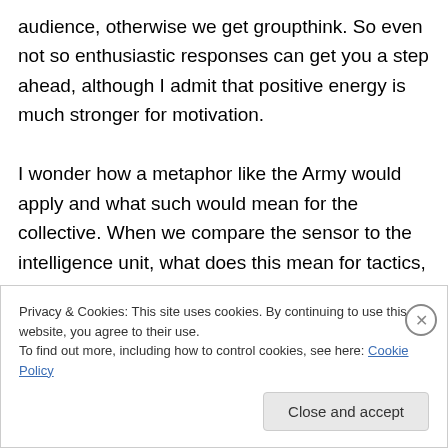audience, otherwise we get groupthink. So even not so enthusiastic responses can get you a step ahead, although I admit that positive energy is much stronger for motivation.

I wonder how a metaphor like the Army would apply and what such would mean for the collective. When we compare the sensor to the intelligence unit, what does this mean for tactics, operations, shared learning, etc? I guess the sensor needs the collective just as much as the
Privacy & Cookies: This site uses cookies. By continuing to use this website, you agree to their use.
To find out more, including how to control cookies, see here: Cookie Policy
Close and accept